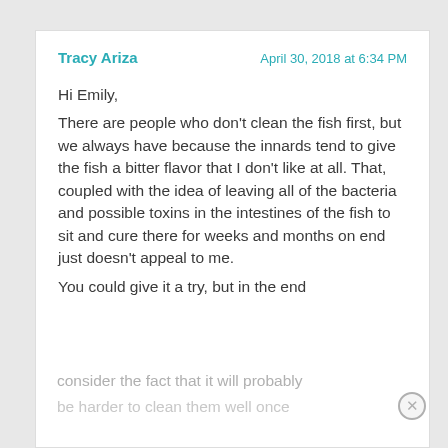Tracy Ariza
April 30, 2018 at 6:34 PM
Hi Emily,
There are people who don’t clean the fish first, but we always have because the innards tend to give the fish a bitter flavor that I don’t like at all. That, coupled with the idea of leaving all of the bacteria and possible toxins in the intestines of the fish to sit and cure there for weeks and months on end just doesn’t appeal to me.
You could give it a try, but in the end consider the fact that it will probably be harder to clean them well once...